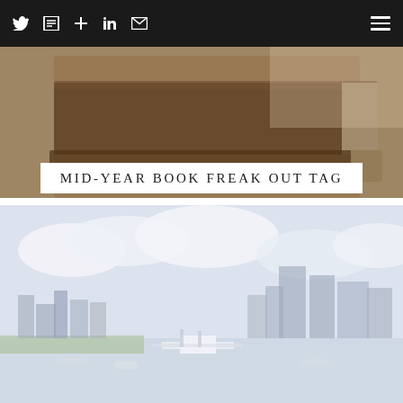Navigation bar with Twitter, blog, add, LinkedIn, email icons and hamburger menu
[Figure (photo): Close-up photograph of stacked old books on a wooden surface, warm brown tones, slightly blurred]
MID-YEAR BOOK FREAK OUT TAG
[Figure (photo): Aerial photograph of a city waterfront with marina, sailboats, river, and city skyline with tall buildings under a cloudy sky]